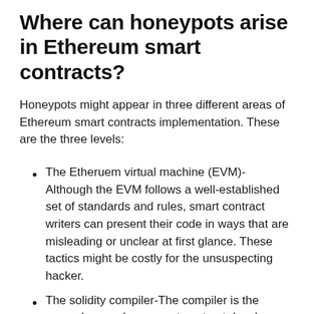Where can honeypots arise in Ethereum smart contracts?
Honeypots might appear in three different areas of Ethereum smart contracts implementation. These are the three levels:
The Etheruem virtual machine (EVM)- Although the EVM follows a well-established set of standards and rules, smart contract writers can present their code in ways that are misleading or unclear at first glance. These tactics might be costly for the unsuspecting hacker.
The solidity compiler-The compiler is the second area where smart contract developers